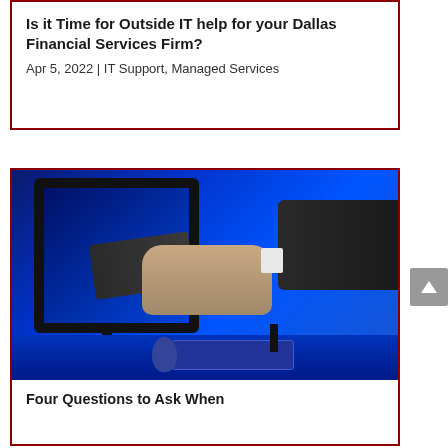Is it Time for Outside IT help for your Dallas Financial Services Firm?
Apr 5, 2022 | IT Support, Managed Services
[Figure (photo): A handshake between two businesspeople, one arm emerging from a computer monitor screen, with a keyboard and mouse on a blue-lit desk in the background.]
Four Questions to Ask When